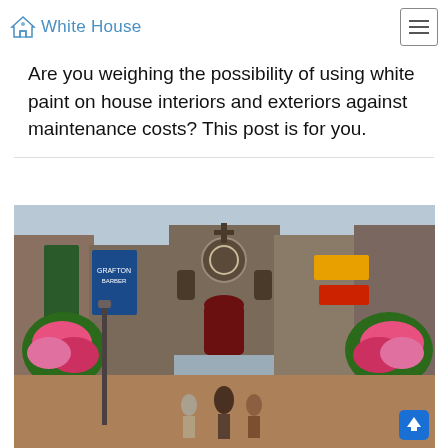White House
Are you weighing the possibility of using white paint on house interiors and exteriors against maintenance costs? This post is for you.
[Figure (photo): A busy pedestrian street in Dublin (Grafton Street) with a Gothic church (St. Anne's Church) visible at the end, flanked by colorful hanging flower baskets, shops with signage, and pedestrians walking along a brick-paved road.]